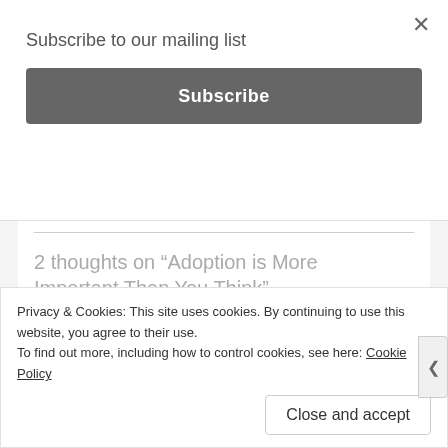Subscribe to our mailing list
Subscribe
2 thoughts on “Adoption is More Important Than You Think”
[Figure (illustration): Circular avatar icon with teal/green geometric diamond pattern on white background]
smhausen
AUGUST 31, 2018 AT 10:17 AM
Privacy & Cookies: This site uses cookies. By continuing to use this website, you agree to their use.
To find out more, including how to control cookies, see here: Cookie Policy
Close and accept